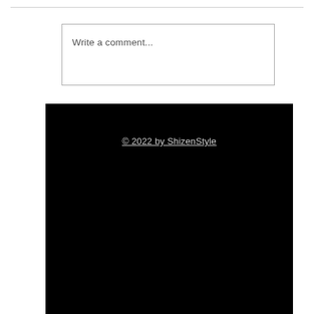Write a comment...
© 2022 by ShizenStyle